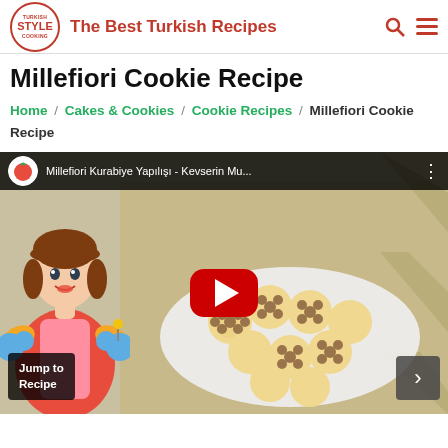The Best Turkish Recipes
Millefiori Cookie Recipe
Home / Cakes & Cookies / Cookie Recipes / Millefiori Cookie Recipe
[Figure (screenshot): YouTube video thumbnail showing Millefiori Kurabiye Yapılışı - Kevserin Mu... with a play button overlay, cookies on a plate in background, cartoon chef avatar on left, Jump to Recipe button bottom-left, next arrow bottom-right]